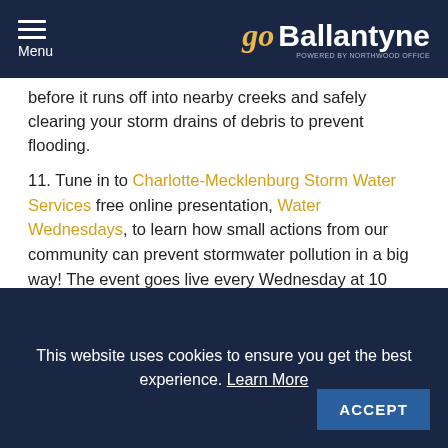Menu | goBallantyne powered by Northwood Office
before it runs off into nearby creeks and safely clearing your storm drains of debris to prevent flooding.
11. Tune in to Charlotte-Mecklenburg Storm Water Services free online presentation, Water Wednesdays, to learn how small actions from our community can prevent stormwater pollution in a big way! The event goes live every Wednesday at 10 a.m.
12. Follow this Recycle Right Mini Guide and listen to this recorded webinar for tips on how to recycle in Mecklenburg County.
This website uses cookies to ensure you get the best experience. Learn More | ACCEPT